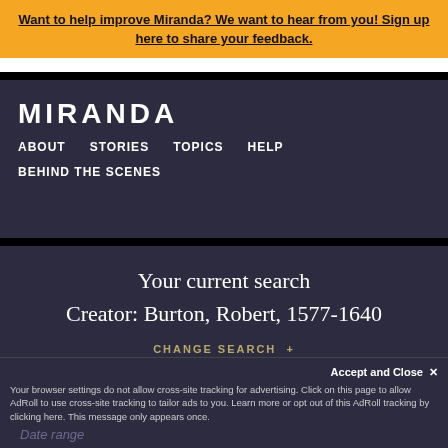Want to help improve Miranda? We want to hear from you! Sign up here to share your feedback.
MIRANDA
ABOUT   STORIES   TOPICS   HELP   BEHIND THE SCENES
Your current search
Creator: Burton, Robert, 1577-1640
CHANGE SEARCH +
Accept and Close ✕
Your browser settings do not allow cross-site tracking for advertising. Click on this page to allow AdRoll to use cross-site tracking to tailor ads to you. Learn more or opt out of this AdRoll tracking by clicking here. This message only appears once.
Date range